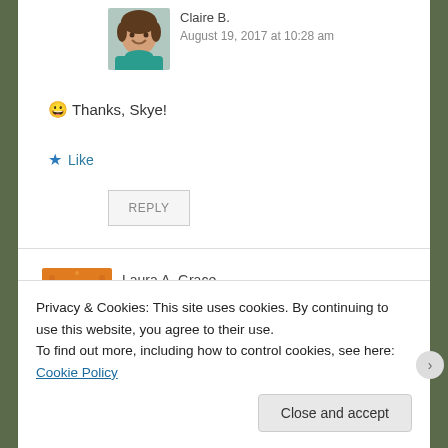[Figure (photo): Profile photo of Claire B. — young woman with brown hair, smiling, wearing teal top]
Claire B.
August 19, 2017 at 10:28 am
😀 Thanks, Skye!
★ Like
REPLY
[Figure (photo): Profile photo of Laura A. Grace — orange illustrated avatar with bookish character holding a jar]
Laura A. Grace
August 18, 2017 at 2:12 pm
Hey Claire! 😀 I totally tried commenting on my iPod last night,
Privacy & Cookies: This site uses cookies. By continuing to use this website, you agree to their use.
To find out more, including how to control cookies, see here: Cookie Policy
Close and accept